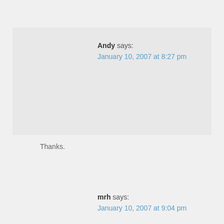Andy says:
January 10, 2007 at 8:27 pm
Thanks.
mrh says:
January 10, 2007 at 9:04 pm